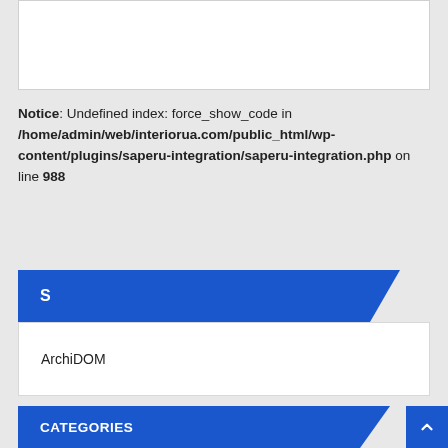[Figure (screenshot): White content box at the top of the page]
Notice: Undefined index: force_show_code in /home/admin/web/interiorua.com/public_html/wp-content/plugins/saperu-integration/saperu-integration.php on line 988
S
ArchiDOM
CATEGORIES